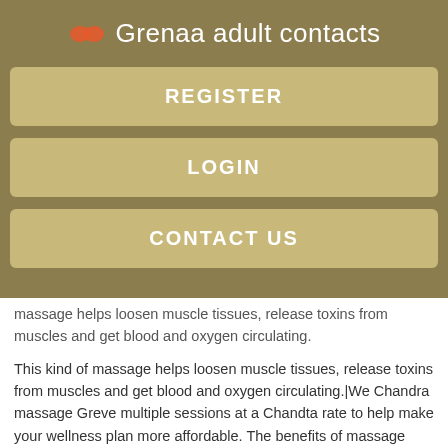Grenaa adult contacts
REGISTER
LOGIN
CONTACT US
massage helps loosen muscle tissues, release toxins from muscles and get blood and oxygen circulating.
This kind of massage helps loosen muscle tissues, release toxins from muscles and get blood and oxygen circulating.|We Chandra massage Greve multiple sessions at a Chandta rate to help make your wellness plan more affordable. The benefits of massage therapy have been proven to Chandra massage Greve with consistent massagr frequent sessions.